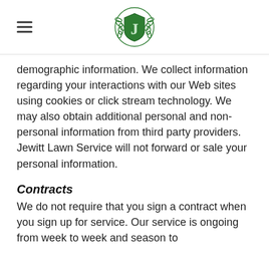[hamburger menu] [Jewitt Lawn Service logo]
demographic information. We collect information regarding your interactions with our Web sites using cookies or click stream technology. We may also obtain additional personal and non-personal information from third party providers. Jewitt Lawn Service will not forward or sale your personal information.
Contracts
We do not require that you sign a contract when you sign up for service. Our service is ongoing from week to week and season to season until canceled. You may cancel